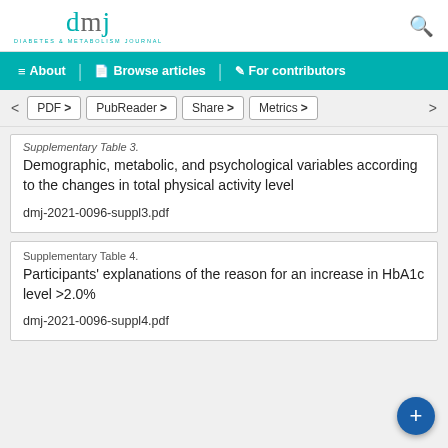dmj DIABETES & METABOLISM JOURNAL
About | Browse articles | For contributors
PDF > | PubReader > | Share > | Metrics >
Supplementary Table 3.
Demographic, metabolic, and psychological variables according to the changes in total physical activity level
dmj-2021-0096-suppl3.pdf
Supplementary Table 4.
Participants' explanations of the reason for an increase in HbA1c level >2.0%
dmj-2021-0096-suppl4.pdf